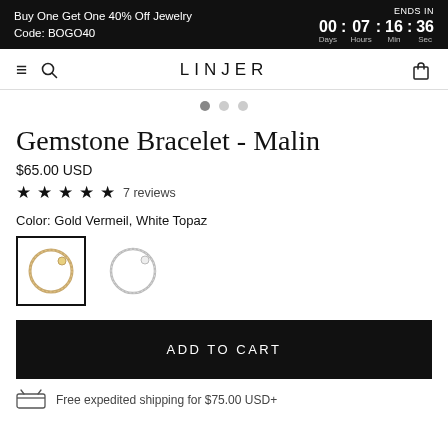Buy One Get One 40% Off Jewelry Code: BOGO40 | ENDS IN 00 Days : 07 Hours : 16 Min : 36 Sec
LINJER
Gemstone Bracelet - Malin
$65.00 USD
★★★★★ 7 reviews
Color: Gold Vermeil, White Topaz
[Figure (photo): Two bracelet color swatches: first is gold vermeil (selected, black border), second is white/silver.]
ADD TO CART
Free expedited shipping for $75.00 USD+